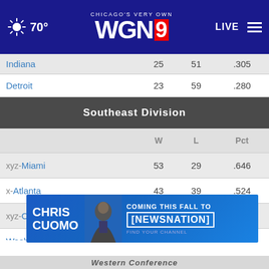Chicago's Very Own WGN9 — 70° — LIVE
|  | W | L | Pct |
| --- | --- | --- | --- |
| Indiana | 25 | 51 | .305 |
| Detroit | 23 | 59 | .280 |
| Southeast Division |  |  |  |
|  | W | L | Pct |
| xyz-Miami | 53 | 29 | .646 |
| x-Atlanta | 43 | 39 | .524 |
| xyz-Charlotte | 43 | 39 | .524 |
| Washington | 35 | 47 | .427 |
| Orlando | 22 | 60 | .268 |
[Figure (screenshot): Chris Cuomo advertisement banner: Coming This Fall To NewsNation]
Western Conference